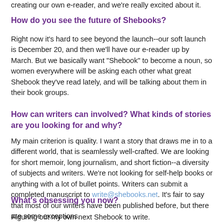creating our own e-reader, and we're really excited about it.
How do you see the future of Shebooks?
Right now it's hard to see beyond the launch--our soft launch is December 20, and then we'll have our e-reader up by March. But we basically want "Shebook" to become a noun, so women everywhere will be asking each other what great Shebook they've read lately, and will be talking about them in their book groups.
How can writers can involved? What kinds of stories are you looking for and why?
My main criterion is quality. I want a story that draws me in to a different world, that is seamlessly well-crafted. We are looking for short memoir, long journalism, and short fiction--a diversity of subjects and writers. We're not looking for self-help books or anything with a lot of bullet points. Writers can submit a completed manuscript to write@shebooks.net. It's fair to say that most of our writers have been published before, but there are some exceptions.
What's obsessing you now?
Figuring out my own next Shebook to write.